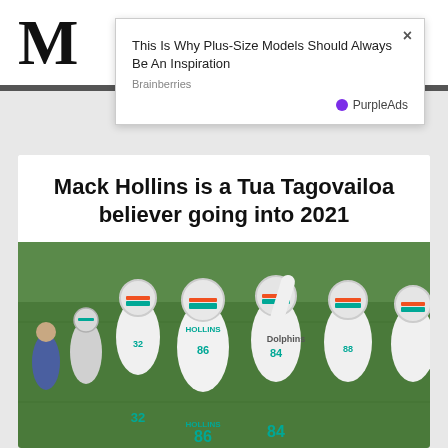M
[Figure (screenshot): Ad overlay popup: 'This Is Why Plus-Size Models Should Always Be An Inspiration' from Brainberries, powered by PurpleAds, with close button]
Mack Hollins is a Tua Tagovailoa believer going into 2021
[Figure (photo): Miami Dolphins players in white jerseys celebrating on field, with player 86 Hollins visible and player 84 in center, helmets on, green field background]